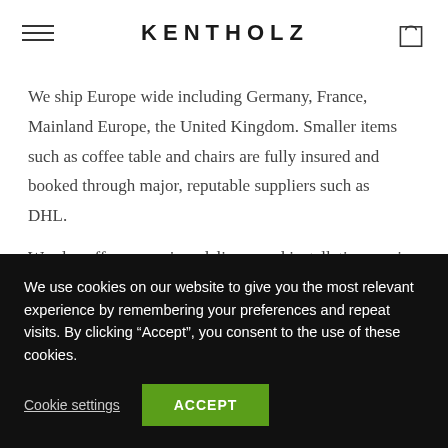KENTHOLZ
We ship Europe wide including Germany, France, Mainland Europe, the United Kingdom. Smaller items such as coffee table and chairs are fully insured and booked through major, reputable suppliers such as DHL.
We also offer a premium delivery and installation service
We use cookies on our website to give you the most relevant experience by remembering your preferences and repeat visits. By clicking “Accept”, you consent to the use of these cookies.
Cookie settings
ACCEPT